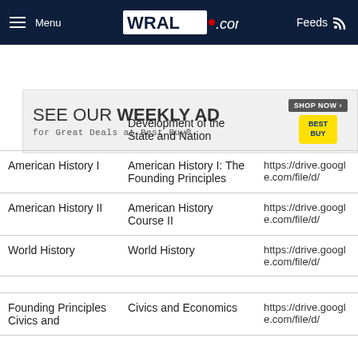Menu  WRAL.com  Feeds
[Figure (infographic): Best Buy advertisement banner: SEE OUR WEEKLY AD for Great Deals at Best Buy® SHOP NOW button and Best Buy logo]
| Course | Textbook/Material | Link |
| --- | --- | --- |
|  | Development of the State and Nation |  |
| American History I | American History I: The Founding Principles | https://drive.google.com/file/d/... |
| American History II | American History Course II | https://drive.google.com/file/d/... |
| World History | World History | https://drive.google.com/file/d/... |
| Founding Principles Civics and | Civics and Economics | https://drive.google.com/file/d/... |